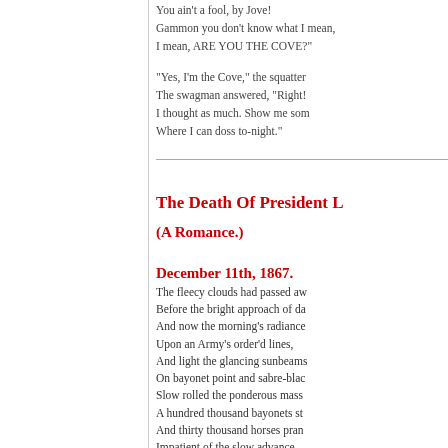You ain't a fool, by Jove!
Gammon you don't know what I mean, ARE YOU THE COVE?
“Yes, I’m the Cove,” the squatter
The swagman answered, “Right!
I thought as much. Show me som
Where I can doss to-night.”
The Death Of President L
(A Romance.)
December 11th, 1867.
The fleecy clouds had passed aw
Before the bright approach of da
And now the morning’s radiance
Upon an Army’s order’d lines,
And light the glancing sunbeams
On bayonet point and sabre-blac
Slow rolled the ponderous mass
A hundred thousand bayonets st
And thirty thousand horses pran
Impatient of the slow advance,
While o’er those glittering grove